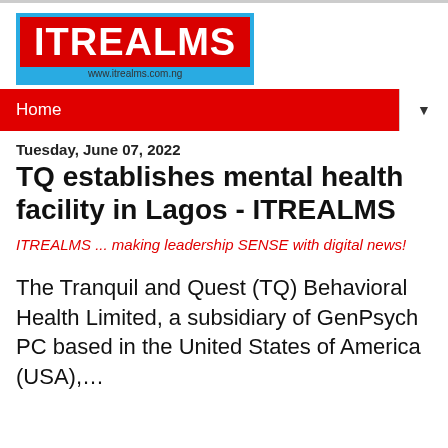[Figure (logo): ITREALMS logo with blue border, red background, white text, and www.itrealms.com.ng URL beneath]
Home ▼
Tuesday, June 07, 2022
TQ establishes mental health facility in Lagos - ITREALMS
ITREALMS ... making leadership SENSE with digital news!
The Tranquil and Quest (TQ) Behavioral Health Limited, a subsidiary of GenPsych PC based in the United States of America (USA),…